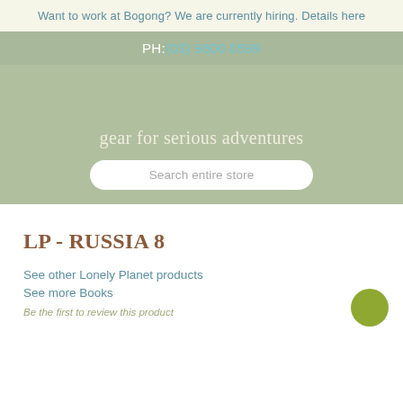Want to work at Bogong? We are currently hiring. Details here
PH: (03) 9600 0599
[Figure (other): Hero section with sage green background, tagline 'gear for serious adventures' and a search bar reading 'Search entire store']
LP - RUSSIA 8
See other Lonely Planet products
See more Books
Be the first to review this product